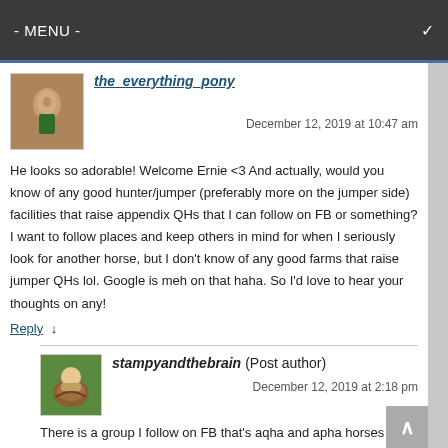- MENU -
the_everything_pony
December 12, 2019 at 10:47 am
He looks so adorable! Welcome Ernie <3 And actually, would you know of any good hunter/jumper (preferably more on the jumper side) facilities that raise appendix QHs that I can follow on FB or something? I want to follow places and keep others in mind for when I seriously look for another horse, but I don't know of any good farms that raise jumper QHs lol. Google is meh on that haha. So I'd love to hear your thoughts on any!
Reply ↓
stampyandthebrain (Post author)
December 12, 2019 at 2:18 pm
There is a group I follow on FB that's aqha and apha horses for sale (so not just